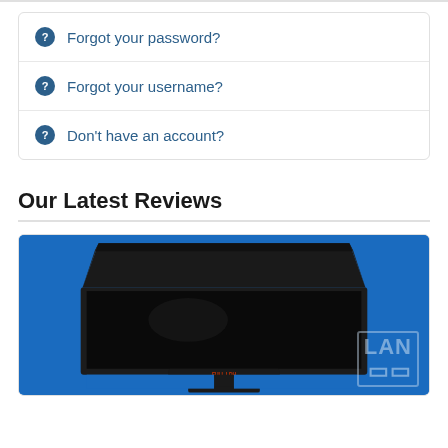Forgot your password?
Forgot your username?
Don't have an account?
Our Latest Reviews
[Figure (photo): A gaming or professional monitor with a wide anti-glare hood/shield, displayed against a bright blue background on a stand. The screen is turned off (black). A watermark reading 'LAN' is visible in the bottom right corner.]